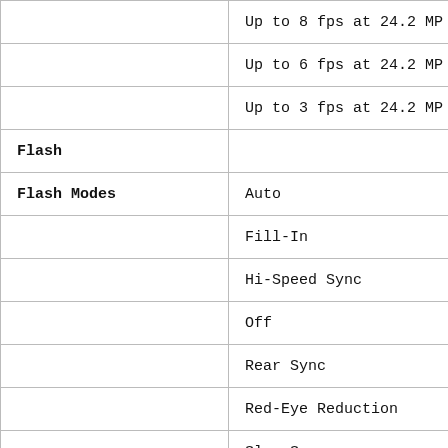|  |  |
| --- | --- |
|  | Up to 8 fps at 24.2 MP |
|  | Up to 6 fps at 24.2 MP |
|  | Up to 3 fps at 24.2 MP |
| Flash |  |
| Flash Modes | Auto |
|  | Fill-In |
|  | Hi-Speed Sync |
|  | Off |
|  | Rear Sync |
|  | Red-Eye Reduction |
|  | Slow Sync |